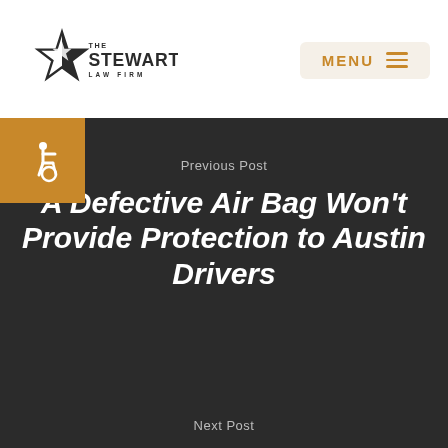[Figure (logo): The Stewart Law Firm logo with star graphic and text]
[Figure (other): Menu button with MENU text and hamburger icon lines]
[Figure (other): Accessibility icon button (wheelchair symbol) in orange square]
Previous Post
A Defective Air Bag Won't Provide Protection to Austin Drivers
Next Post